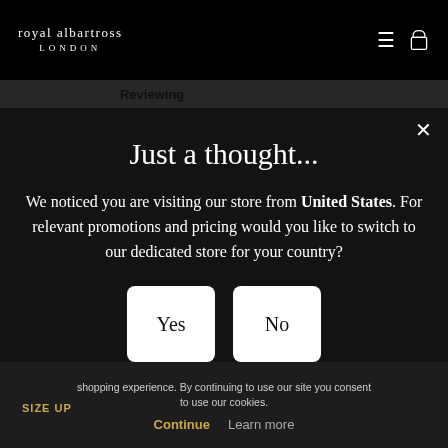royal albartross LONDON
Reviewing
Just a thought...
We noticed you are visiting our store from United States. For relevant promotions and pricing would you like to switch to our dedicated store for your country?
Yes
No
shopping experience. By continuing to use our site you consent to use our cookies.
SIZE UP
Continue
Learn more